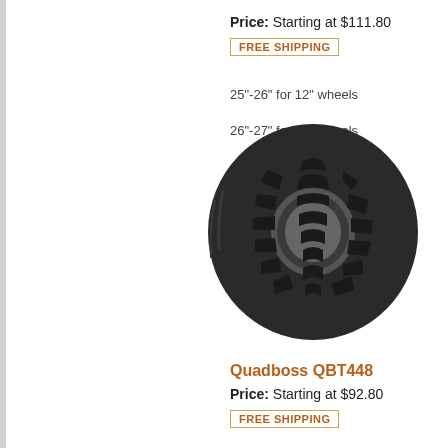Price: Starting at $111.80
FREE SHIPPING
25"-26" for 12" wheels
26"-27" for 14" wheels
[Figure (photo): Photo of Quadboss QBT448 ATV tire showing tread pattern]
Quadboss QBT448
Price: Starting at $92.80
FREE SHIPPING